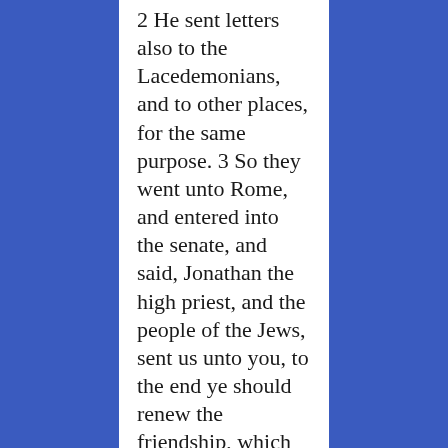2 He sent letters also to the Lacedemonians, and to other places, for the same purpose. 3 So they went unto Rome, and entered into the senate, and said, Jonathan the high priest, and the people of the Jews, sent us unto you, to the end ye should renew the friendship, which ye had with them, and league, as in former time. 4 Upon this the Romans gave them letters unto the governors of every place that